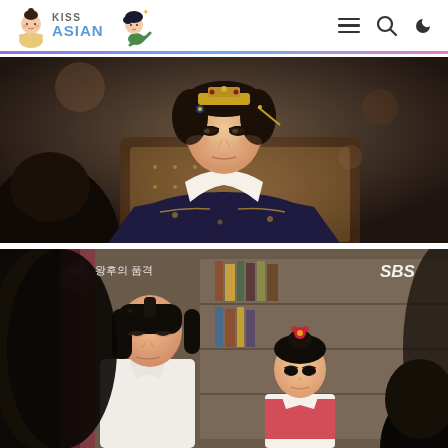KISS ASIAN
[Figure (photo): Korean historical drama screenshot showing a woman in traditional Korean royal hanbok with golden crown ornaments, seated on an ornate throne-like chair. She has a serious expression. The scene is from a period drama.]
[Figure (photo): Korean drama screenshot showing two women in a scene - one adult woman in white top and a young girl in traditional Korean dress with red hair ornament. Korean text '왕후의 품격' visible in upper left corner and 'SBS' watermark in upper right.]